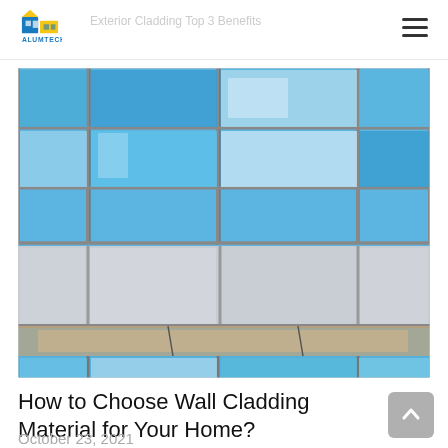ALUMTECH
[Figure (photo): Close-up photograph of a modern building facade featuring aluminum cladding panels in silver/grey color with large glass curtain wall sections reflecting blue sky, showing architectural detail of exterior wall cladding system.]
How to Choose Wall Cladding Material for Your Home?
October 23, 2021